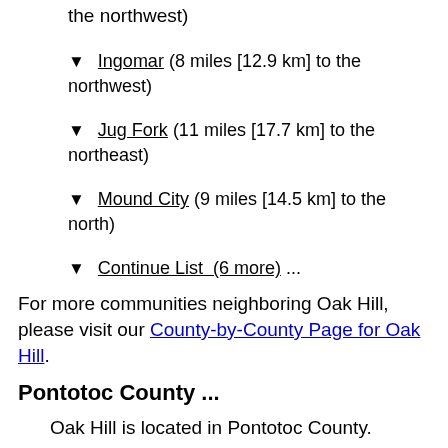the northwest)
▼ Ingomar (8 miles [12.9 km] to the northwest)
▼ Jug Fork (11 miles [17.7 km] to the northeast)
▼ Mound City (9 miles [14.5 km] to the north)
▼ Continue List  (6 more) ...
For more communities neighboring Oak Hill, please visit our County-by-County Page for Oak Hill.
Pontotoc County ...
Oak Hill is located in Pontotoc County.
The following counties adjoin and form the boundaries of Pontotoc County: Calhoun,